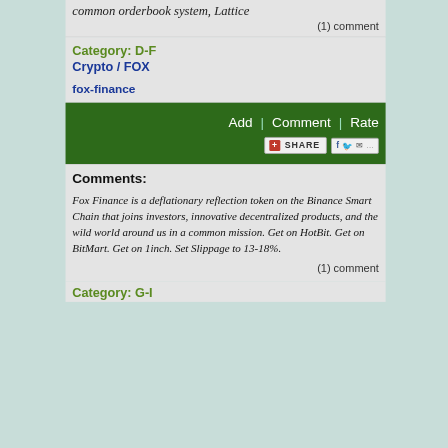common orderbook system, Lattice
(1) comment
Category: D-F
Crypto / FOX
fox-finance
[Figure (screenshot): Green action bar with Add | Comment | Rate links and a Share button with social icons]
Comments:
Fox Finance is a deflationary reflection token on the Binance Smart Chain that joins investors, innovative decentralized products, and the wild world around us in a common mission. Get on HotBit. Get on BitMart. Get on 1inch. Set Slippage to 13-18%.
(1) comment
Category: G-I